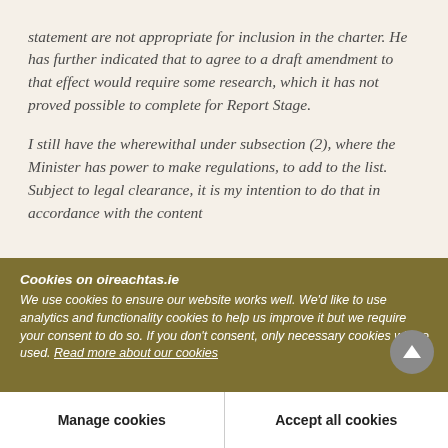statement are not appropriate for inclusion in the charter. He has further indicated that to agree to a draft amendment to that effect would require some research, which it has not proved possible to complete for Report Stage.

I still have the wherewithal under subsection (2), where the Minister has power to make regulations, to add to the list. Subject to legal clearance, it is my intention to do that in accordance with the content
Cookies on oireachtas.ie
We use cookies to ensure our website works well. We'd like to use analytics and functionality cookies to help us improve it but we require your consent to do so. If you don't consent, only necessary cookies will be used. Read more about our cookies
Manage cookies
Accept all cookies